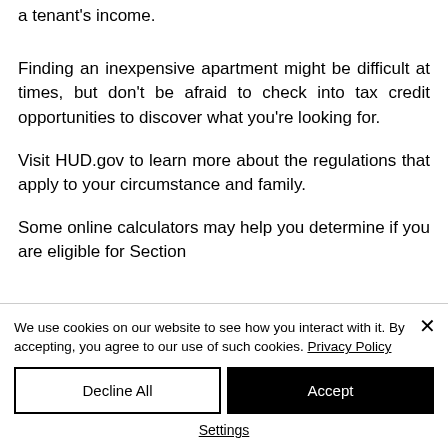a tenant's income.
Finding an inexpensive apartment might be difficult at times, but don't be afraid to check into tax credit opportunities to discover what you're looking for.
Visit HUD.gov to learn more about the regulations that apply to your circumstance and family.
Some online calculators may help you determine if you are eligible for Section
We use cookies on our website to see how you interact with it. By accepting, you agree to our use of such cookies. Privacy Policy
Decline All
Accept
Settings